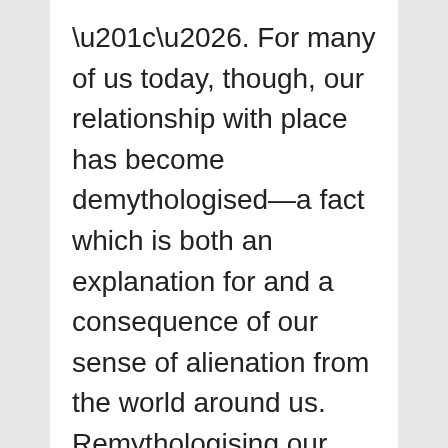“…. For many of us today, though, our relationship with place has become demythologised—a fact which is both an explanation for and a consequence of our sense of alienation from the world around us. Remythologising our places, then, is not just an interesting intellectual exercise, but an act of radical belonging. Like any other species on this planet, we badly need to be grounded; we need to find our anchor in place, wherever we might happen